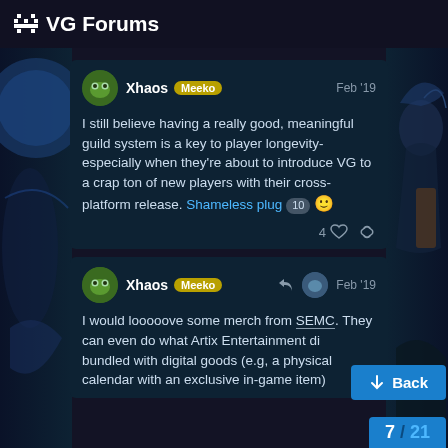VG Forums
Xhaos Meeko Feb '19
I still believe having a really good, meaningful guild system is a key to player longevity- especially when they're about to introduce VG to a crap ton of new players with their cross-platform release. Shameless plug 10 🙂
4 ♡ 🔗
Xhaos Meeko Feb '19
I would looooove some merch from SEMC. They can even do what Artix Entertainment did bundled with digital goods (e.g, a physical calendar with an exclusive in-game item)
↓ Back
7 / 21